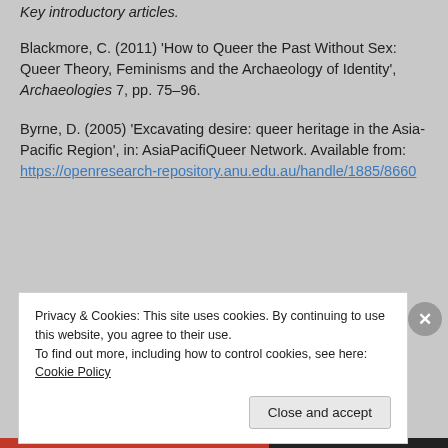Key introductory articles.
Blackmore, C. (2011) 'How to Queer the Past Without Sex: Queer Theory, Feminisms and the Archaeology of Identity', Archaeologies 7, pp. 75–96.
Byrne, D. (2005) 'Excavating desire: queer heritage in the Asia-Pacific Region', in: AsiaPacifiQueer Network. Available from: https://openresearch-repository.anu.edu.au/handle/1885/8660
Privacy & Cookies: This site uses cookies. By continuing to use this website, you agree to their use. To find out more, including how to control cookies, see here: Cookie Policy
Close and accept